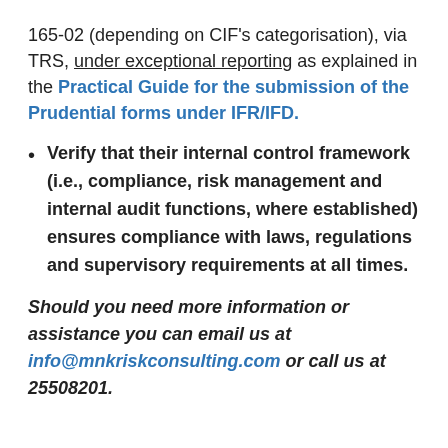165-02 (depending on CIF's categorisation), via TRS, under exceptional reporting as explained in the Practical Guide for the submission of the Prudential forms under IFR/IFD.
Verify that their internal control framework (i.e., compliance, risk management and internal audit functions, where established) ensures compliance with laws, regulations and supervisory requirements at all times.
Should you need more information or assistance you can email us at info@mnkriskconsulting.com or call us at 25508201.